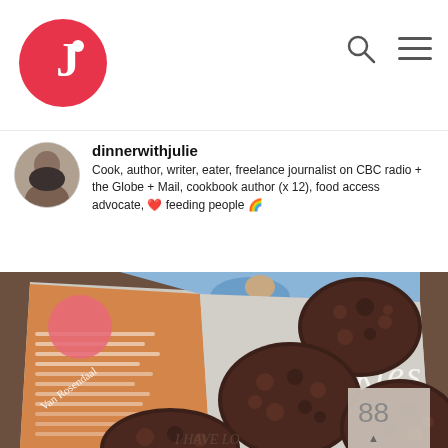[Figure (logo): Circular red logo with white letter J and a dot, representing the dinnerwithjulie brand]
[Figure (illustration): Search icon (magnifying glass) and hamburger menu icon in the top right navigation]
[Figure (photo): Small circular avatar photo of a woman holding a phone, user profile picture for dinnerwithjulie]
dinnerwithjulie
Cook, author, writer, eater, freelance journalist on CBC radio + the Globe + Mail, cookbook author (x 12), food access advocate, ❤️ feeding people 🌈
[Figure (photo): Close-up photo of a cookbook open on a table, showing chocolate crinkle cookies on the right page with the word COOKIES visible, and a child in a blue sweater on the left page. An orange sidebar with text is visible. The bottom shows partial text I HAVE LO...]